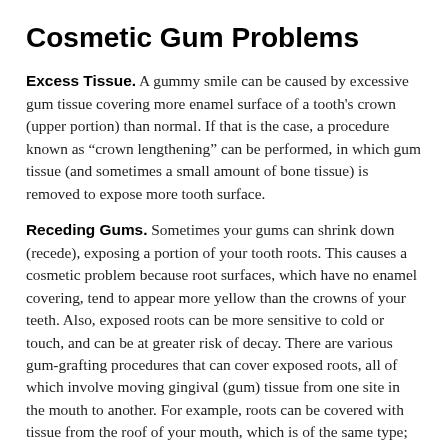Cosmetic Gum Problems
Excess Tissue. A gummy smile can be caused by excessive gum tissue covering more enamel surface of a tooth's crown (upper portion) than normal. If that is the case, a procedure known as “crown lengthening” can be performed, in which gum tissue (and sometimes a small amount of bone tissue) is removed to expose more tooth surface.
Receding Gums. Sometimes your gums can shrink down (recede), exposing a portion of your tooth roots. This causes a cosmetic problem because root surfaces, which have no enamel covering, tend to appear more yellow than the crowns of your teeth. Also, exposed roots can be more sensitive to cold or touch, and can be at greater risk of decay. There are various gum-grafting procedures that can cover exposed roots, all of which involve moving gingival (gum) tissue from one site in the mouth to another. For example, roots can be covered with tissue from the roof of your mouth, which is of the same type; or adjacent (nearby) tissue can be moved over to cover an exposed root. Sometimes laboratory-processed tissue from another donor can even be used. All of these